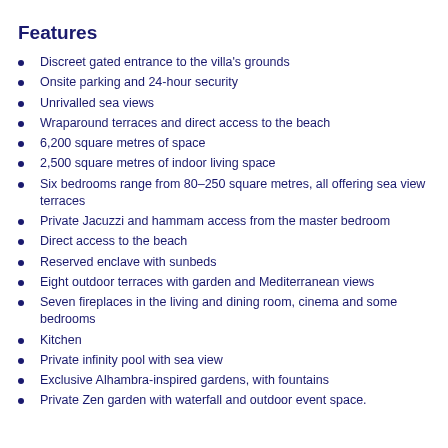Features
Discreet gated entrance to the villa's grounds
Onsite parking and 24-hour security
Unrivalled sea views
Wraparound terraces and direct access to the beach
6,200 square metres of space
2,500 square metres of indoor living space
Six bedrooms range from 80–250 square metres, all offering sea view terraces
Private Jacuzzi and hammam access from the master bedroom
Direct access to the beach
Reserved enclave with sunbeds
Eight outdoor terraces with garden and Mediterranean views
Seven fireplaces in the living and dining room, cinema and some bedrooms
Kitchen
Private infinity pool with sea view
Exclusive Alhambra-inspired gardens, with fountains
Private Zen garden with waterfall and outdoor event space.